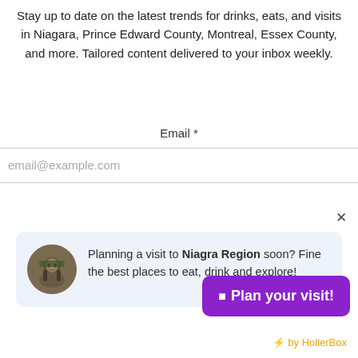Stay up to date on the latest trends for drinks, eats, and visits in Niagara, Prince Edward County, Montreal, Essex County, and more. Tailored content delivered to your inbox weekly.
Email *
email@example.com
Planning a visit to Niagra Region soon? Fine the best places to eat, drink and explore!
⊞ Plan your visit!
⚡ by HollerBox